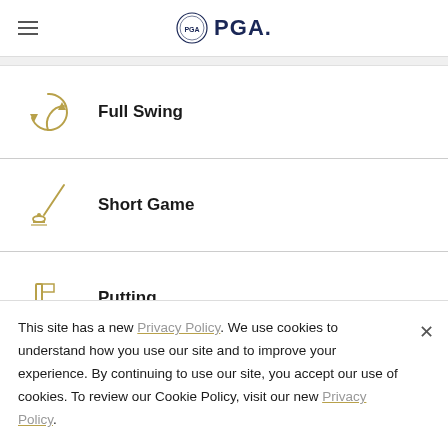PGA
Full Swing
Short Game
Putting
This site has a new Privacy Policy. We use cookies to understand how you use our site and to improve your experience. By continuing to use our site, you accept our use of cookies. To review our Cookie Policy, visit our new Privacy Policy.